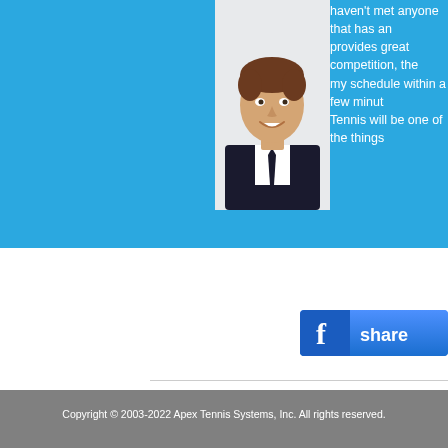[Figure (photo): Portrait photo of a smiling man in a suit, embedded in a blue banner section]
haven't met anyone that has an... provides great competition, the... my schedule within a few minut... Tennis will be one of the things...
[Figure (other): Facebook share button with 'f' logo and 'share' text on blue gradient background]
Home | What is Ultimate Tennis | Enjoy the benefits | Amazing...
Copyright © 2003-2022 Apex Tennis Systems, Inc. All rights reserved.